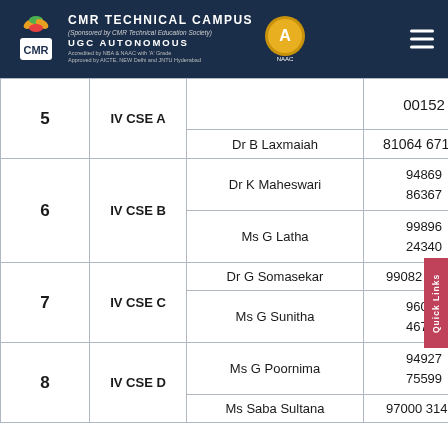CMR TECHNICAL CAMPUS - UGC AUTONOMOUS
| # | Section | Name | Phone |
| --- | --- | --- | --- |
| 5 | IV CSE A |  | 00152 |
| 5 | IV CSE A | Dr B Laxmaiah | 81064 67177 |
| 6 | IV CSE B | Dr K Maheswari | 94869 86367 |
| 6 | IV CSE B | Ms G Latha | 99896 24340 |
| 7 | IV CSE C | Dr G Somasekar | 99082 19507 |
| 7 | IV CSE C | Ms G Sunitha | 96035 46750 |
| 8 | IV CSE D | Ms G Poornima | 94927 75599 |
| 8 | IV CSE D | Ms Saba Sultana | 97000 31418 |